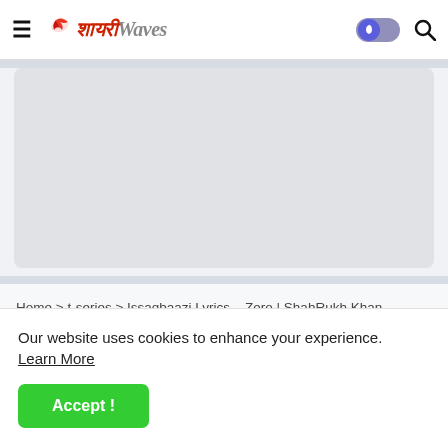ShayariWaves — Home navigation header with hamburger menu, logo, dark mode toggle, and search icon
[Figure (other): Gray advertisement banner placeholder rectangle]
Home > t-series > Issaqbaazi Lyrics – Zero | ShahRukh Khan, Katrina Kaif
Our website uses cookies to enhance your experience. Learn More
Accept !